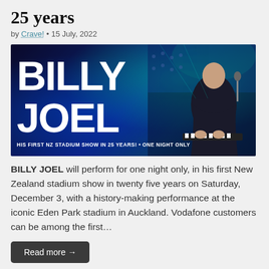25 years
by Crave! • 15 July, 2022
[Figure (photo): Billy Joel concert promotional image with large 'BILLY JOEL' text overlay on blue/teal arena background, performer at piano on right side. Subtitle: HIS FIRST NZ STADIUM SHOW IN 25 YEARS! • ONE NIGHT ONLY]
BILLY JOEL will perform for one night only, in his first New Zealand stadium show in twenty five years on Saturday, December 3, with a history-making performance at the iconic Eden Park stadium in Auckland. Vodafone customers can be among the first…
Read more →